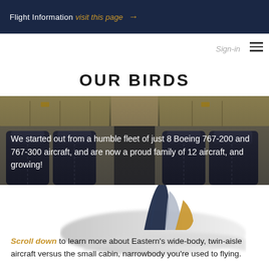Flight Information visit this page →
Sign-in
OUR BIRDS
[Figure (photo): Interior of an aircraft cabin showing rows of dark blue leather seats with beige/cream overhead panels and storage compartments]
We started out from a humble fleet of just 8 Boeing 767-200 and 767-300 aircraft, and are now a proud family of 12 aircraft, and growing!
[Figure (illustration): Partial view of an Eastern Airlines aircraft tail/fuselage showing the company livery with blue, grey, and gold/yellow color sections]
Scroll down to learn more about Eastern's wide-body, twin-aisle aircraft versus the small cabin, narrowbody you're used to flying.